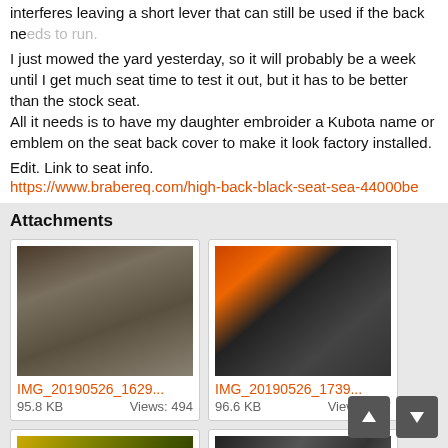interferes leaving a short lever that can still be used if the back needs to run.
I just mowed the yard yesterday, so it will probably be a week until I get much seat time to test it out, but it has to be better than the stock seat.
All it needs is to have my daughter embroider a Kubota name or emblem on the seat back cover to make it look factory installed.
Edit. Link to seat info.
https://www.brabereq.com/high-back-black-seat-sea-44000be
Attachments
[Figure (photo): Photo of tractor seat parts, gray/brown mechanical components]
IMG_20190526_1629...
95.8 KB    Views: 494
[Figure (photo): Photo of tractor with orange/black mechanical parts visible]
IMG_20190526_1739...
96.6 KB    Views: 577
[Figure (photo): Photo of yellow/green mechanical spring or coil component]
[Figure (photo): Photo of dark mechanical seat parts]